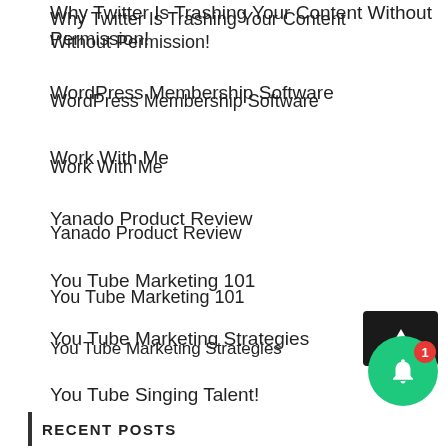Why Twitter Is Trashing Your Content Without Permission!
WordPress Membership Software
Work With Me
Yanado Product Review
You Tube Marketing 101
You Tube Marketing Strategies
You Tube Singing Talent!
[URGENT] I will DELETE this video within 24 hours. Dr. Rashid Buttar
RECENT POSTS